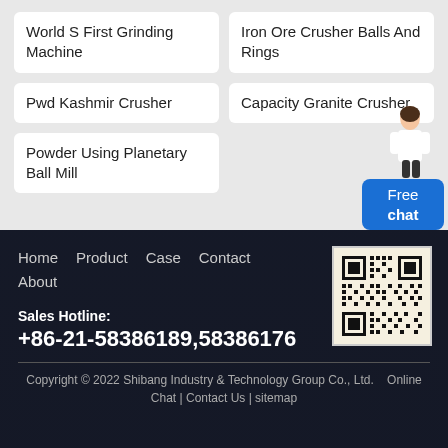World S First Grinding Machine
Iron Ore Crusher Balls And Rings
Pwd Kashmir Crusher
Capacity Granite Crusher
Powder Using Planetary Ball Mill
Home  Product  Case  Contact  About
Sales Hotline:
+86-21-58386189,58386176
Copyright © 2022 Shibang Industry & Technology Group Co., Ltd.  Online Chat | Contact Us | sitemap